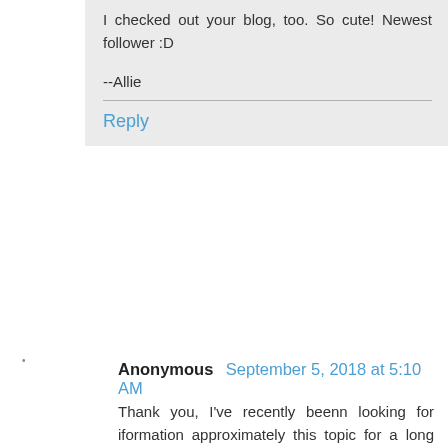I checked out your blog, too. So cute! Newest follower :D
--Allie
Reply
Anonymous  September 5, 2018 at 5:10 AM
Thank you, I've recently beenn looking for iformation approximately this topic for a long time annd yours is the greatest I've flund out till now.
However, what about the conclusion? Are you sure concerning the supply?
Reply
Anonymous  November 30, 2018 at 2:55 AM
This page definitely has all of the information I needed about this subject and didn't know who to ask.